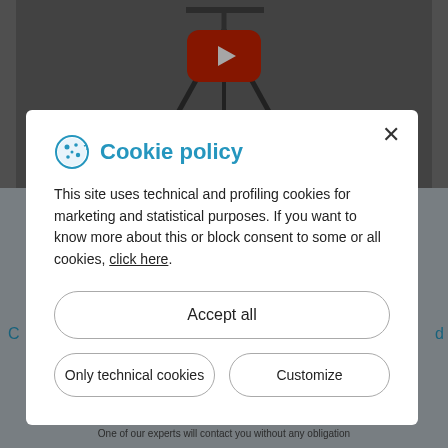[Figure (screenshot): Website page screenshot showing a YouTube video thumbnail with a tripod/equipment silhouette and a red YouTube play button, with a grey background and an 'INFORMATION REQUEST' button below, partially obscured by a cookie policy modal dialog]
Cookie policy
This site uses technical and profiling cookies for marketing and statistical purposes. If you want to know more about this or block consent to some or all cookies, click here.
Accept all
Only technical cookies
Customize
INFORMATION REQUEST
One of our experts will contact you without any obligation